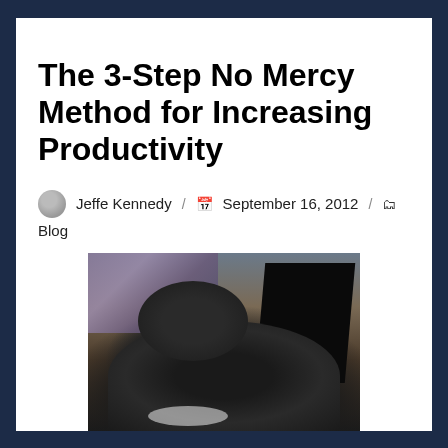The 3-Step No Mercy Method for Increasing Productivity
Jeffe Kennedy / September 16, 2012 / Blog
[Figure (photo): A black dog (appears to be a Schnauzer or similar breed) lying near a laptop computer, viewed from above/side angle. Background shows shelves with books and items.]